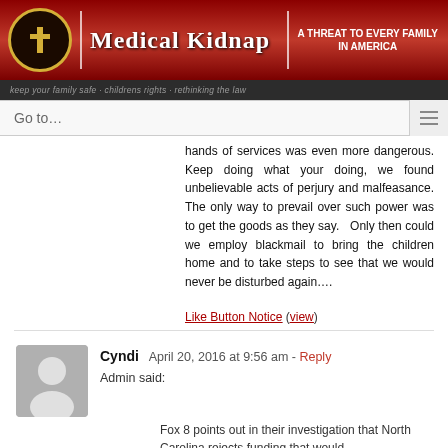MEDICAL KIDNAP | A THREAT TO EVERY FAMILY IN AMERICA
Go to...
hands of services was even more dangerous. Keep doing what your doing, we found unbelievable acts of perjury and malfeasance. The only way to prevail over such power was to get the goods as they say.  Only then could we employ blackmail to bring the children home and to take steps to see that we would never be disturbed again....
Like Button Notice (view)
Cyndi   April 20, 2016 at 9:56 am  - Reply
Admin said:
Fox 8 points out in their investigation that North Carolina rejects funding that would